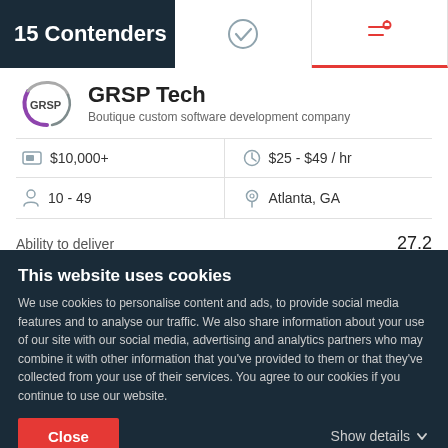15 Contenders
[Figure (logo): GRSP Tech company logo — circular arc design in purple/gray with 'GRSP' text]
GRSP Tech
Boutique custom software development company
| $10,000+ | $25 - $49 / hr |
| 10 - 49 | Atlanta, GA |
Ability to deliver    27.2
[Figure (stacked-bar-chart): Ability to deliver]
This website uses cookies
We use cookies to personalise content and ads, to provide social media features and to analyse our traffic. We also share information about your use of our site with our social media, advertising and analytics partners who may combine it with other information that you've provided to them or that they've collected from your use of their services. You agree to our cookies if you continue to use our website.
Close
Show details